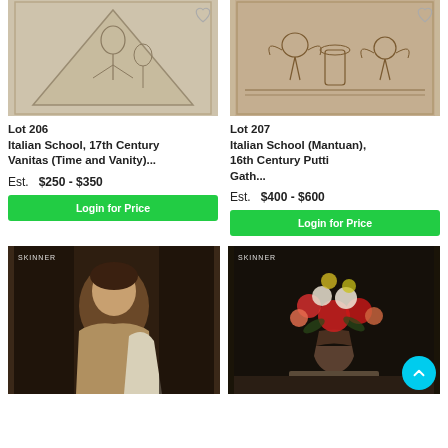[Figure (photo): Lot 206 artwork: Italian School 17th Century sketch, Vanitas (Time and Vanity), pencil drawing on beige paper showing figures in triangular composition]
Lot 206
Italian School, 17th Century
Vanitas (Time and Vanity)...

Est.   $250 - $350
Login for Price
[Figure (photo): Lot 207 artwork: Italian School (Mantuan) 16th Century Putti, brown ink drawing showing putti figures with decorative elements]
Lot 207
Italian School (Mantuan),
16th Century Putti
Gathering...

Est.   $400 - $600
Login for Price
[Figure (photo): Lot artwork: Skinner auction lot, painting of a woman, semi-nude figure, classical style painting with dark background]
[Figure (photo): Lot artwork: Skinner auction lot, still life painting of flowers in vase, colorful floral arrangement on dark background]